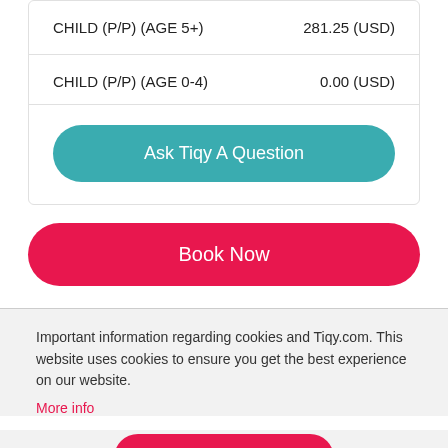| Type | Price |
| --- | --- |
| CHILD (P/P) (AGE 5+) | 281.25 (USD) |
| CHILD (P/P) (AGE 0-4) | 0.00 (USD) |
Ask Tiqy A Question
Book Now
Important information regarding cookies and Tiqy.com. This website uses cookies to ensure you get the best experience on our website.
More info
Got It!